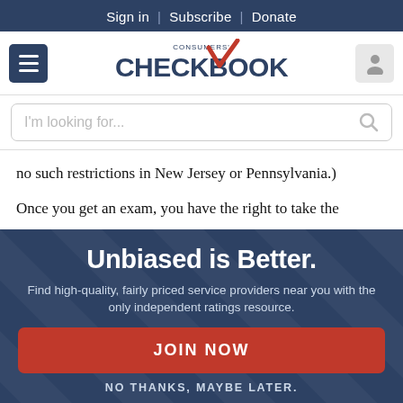Sign in | Subscribe | Donate
[Figure (logo): Consumers' Checkbook logo with hamburger menu and user icon]
[Figure (screenshot): Search bar with placeholder text 'I'm looking for...' and search icon]
no such restrictions in New Jersey or Pennsylvania.)
Once you get an exam, you have the right to take the
[Figure (infographic): Modal overlay with dark blue background. Title: 'Unbiased is Better.' Subtitle: 'Find high-quality, fairly priced service providers near you with the only independent ratings resource.' Button: 'JOIN NOW'. Link: 'NO THANKS, MAYBE LATER.']